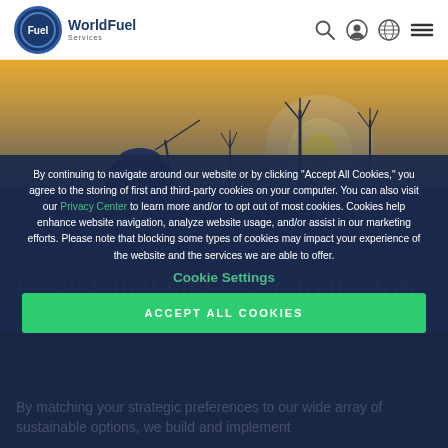World Fuel Services
[Figure (photo): Worker in hard hat silhouetted against sunset sky with wind turbines in background]
By continuing to navigate around our website or by clicking "Accept All Cookies," you agree to the storing of first and third-party cookies on your computer. You can also visit our Privacy Center to learn more and/or to opt out of most cookies. Cookies help enhance website navigation, analyze website usage, and/or assist in our marketing efforts. Please note that blocking some types of cookies may impact your experience of the website and the services we are able to offer.
Cookie Settings
ACCEPT ALL COOKIES
Is sustainability rising to the top of your agenda?
By matching your strategic preferences to our wide array of sustainable options, we build and implement